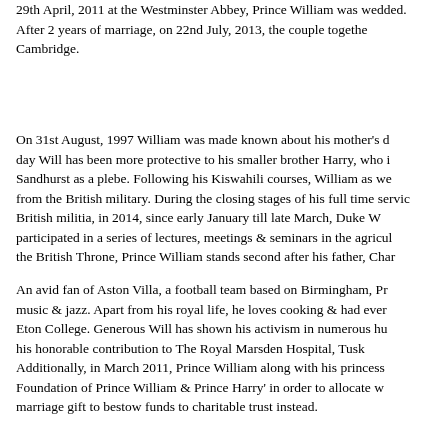29th April, 2011 at the Westminster Abbey, Prince William was wedded. After 2 years of marriage, on 22nd July, 2013, the couple together Cambridge.
On 31st August, 1997 William was made known about his mother's d day Will has been more protective to his smaller brother Harry, who Sandhurst as a plebe. Following his Kiswahili courses, William as we from the British military. During the closing stages of his full time servic British militia, in 2014, since early January till late March, Duke W participated in a series of lectures, meetings & seminars in the agricul the British Throne, Prince William stands second after his father, Char
An avid fan of Aston Villa, a football team based on Birmingham, Pr music & jazz. Apart from his royal life, he loves cooking & had ever Eton College. Generous Will has shown his activism in numerous hu his honorable contribution to The Royal Marsden Hospital, Tusk Additionally, in March 2011, Prince William along with his princess Foundation of Prince William & Prince Harry' in order to allocate w marriage gift to bestow funds to charitable trust instead.